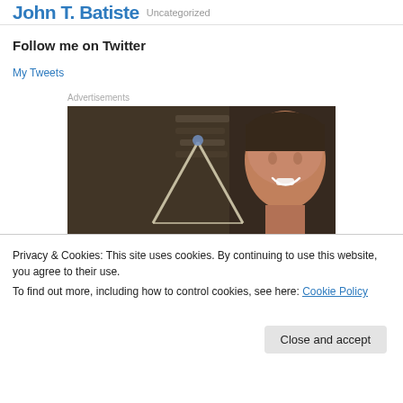Uncategorized
Follow me on Twitter
My Tweets
Advertisements
[Figure (photo): Advertisement photo showing a smiling woman looking through a glass window, with a triangular display stand in the foreground]
Privacy & Cookies: This site uses cookies. By continuing to use this website, you agree to their use.
To find out more, including how to control cookies, see here: Cookie Policy
Close and accept